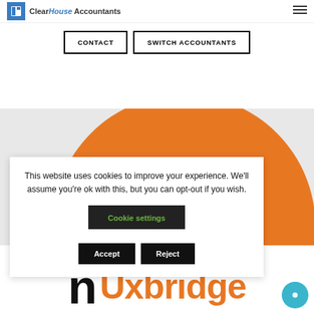ClearHouse Accountants
CONTACT   SWITCH ACCOUNTANTS
[Figure (illustration): Orange circle background graphic on grey background section]
This website uses cookies to improve your experience. We'll assume you're ok with this, but you can opt-out if you wish. Cookie settings Accept Reject
n Uxbridge